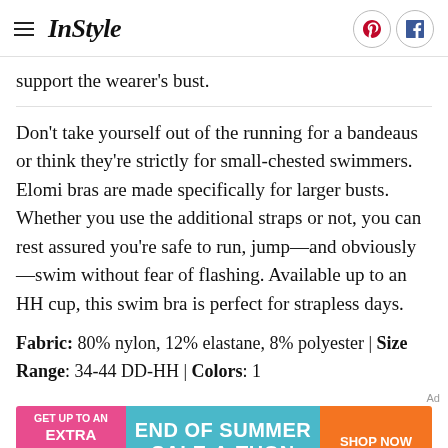InStyle
support the wearer's bust.
Don't take yourself out of the running for a bandeaus or think they're strictly for small-chested swimmers. Elomi bras are made specifically for larger busts. Whether you use the additional straps or not, you can rest assured you're safe to run, jump—and obviously—swim without fear of flashing. Available up to an HH cup, this swim bra is perfect for strapless days.
Fabric: 80% nylon, 12% elastane, 8% polyester | Size Range: 34-44 DD-HH | Colors: 1
[Figure (infographic): Advertisement banner for End of Summer Sale-A-Thon: Get up to an extra 50% off. Shop Now button on orange background.]